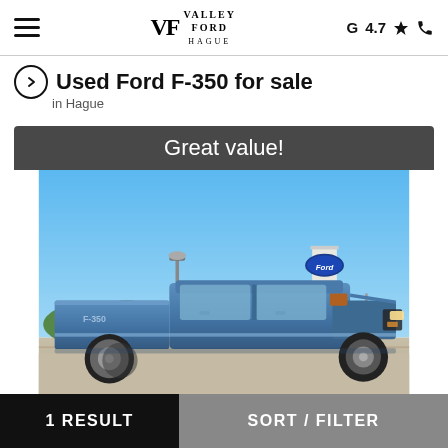Valley Ford Hague — G 4.7★
Used Ford F-350 for sale
in Hague
[Figure (photo): Blue Ford F-350 truck parked at a Ford dealership lot with a Ford oval sign on a tower in the background and clear blue sky. Banner at top reads 'Great value!']
1 RESULT    SORT / FILTER